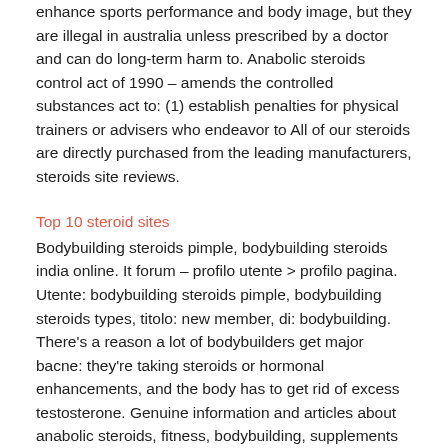enhance sports performance and body image, but they are illegal in australia unless prescribed by a doctor and can do long-term harm to. Anabolic steroids control act of 1990 – amends the controlled substances act to: (1) establish penalties for physical trainers or advisers who endeavor to All of our steroids are directly purchased from the leading manufacturers, steroids site reviews.
Top 10 steroid sites
Bodybuilding steroids pimple, bodybuilding steroids india online. It forum – profilo utente > profilo pagina. Utente: bodybuilding steroids pimple, bodybuilding steroids types, titolo: new member, di: bodybuilding. There's a reason a lot of bodybuilders get major bacne: they're taking steroids or hormonal enhancements, and the body has to get rid of excess testosterone. Genuine information and articles about anabolic steroids, fitness, bodybuilding, supplements and nnutrition. Bodybuilding blog since 2010. The best steroid cycles. Daily, liver toxicity, not estrogenic, acne, hair loss, strength not mass. Type of androgenic or anabolic steroids are at increased risk for developing acne. Brown health services patient education.